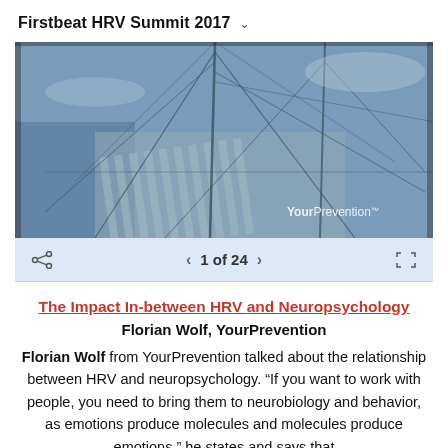Firstbeat HRV Summit 2017
[Figure (photo): Aerial/deck view of a sailboat with rigging visible, blue-toned photo. YourPrevention logo watermark in lower right corner.]
1 of 24
The Impact In-between HRV and Neuropsychology
Florian Wolf, YourPrevention
Florian Wolf from YourPrevention talked about the relationship between HRV and neuropsychology. "If you want to work with people, you need to bring them to neurobiology and behavior, as emotions produce molecules and molecules produce emotions," he states and says that